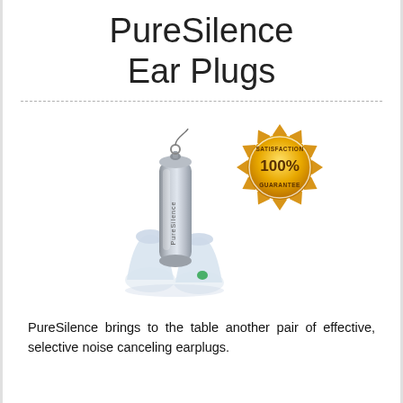PureSilence Ear Plugs
[Figure (photo): PureSilence ear plugs product photo showing a silver cylindrical carry case on a keychain with two clear/transparent ear plugs at the base, accompanied by a gold '100% Satisfaction Guarantee' badge]
PureSilence brings to the table another pair of effective, selective noise canceling earplugs.